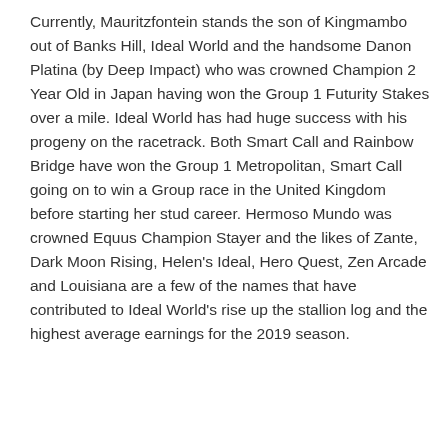Currently, Mauritzfontein stands the son of Kingmambo out of Banks Hill, Ideal World and the handsome Danon Platina (by Deep Impact) who was crowned Champion 2 Year Old in Japan having won the Group 1 Futurity Stakes over a mile. Ideal World has had huge success with his progeny on the racetrack. Both Smart Call and Rainbow Bridge have won the Group 1 Metropolitan, Smart Call going on to win a Group race in the United Kingdom before starting her stud career. Hermoso Mundo was crowned Equus Champion Stayer and the likes of Zante, Dark Moon Rising, Helen's Ideal, Hero Quest, Zen Arcade and Louisiana are a few of the names that have contributed to Ideal World's rise up the stallion log and the highest average earnings for the 2019 season.